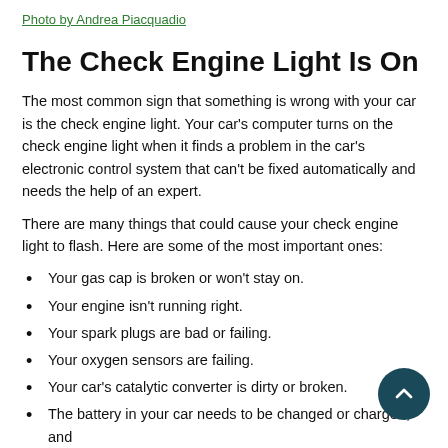Photo by Andrea Piacquadio
The Check Engine Light Is On
The most common sign that something is wrong with your car is the check engine light. Your car’s computer turns on the check engine light when it finds a problem in the car’s electronic control system that can’t be fixed automatically and needs the help of an expert.
There are many things that could cause your check engine light to flash. Here are some of the most important ones:
Your gas cap is broken or won’t stay on.
Your engine isn’t running right.
Your spark plugs are bad or failing.
Your oxygen sensors are failing.
Your car’s catalytic converter is dirty or broken.
The battery in your car needs to be changed or charged, and